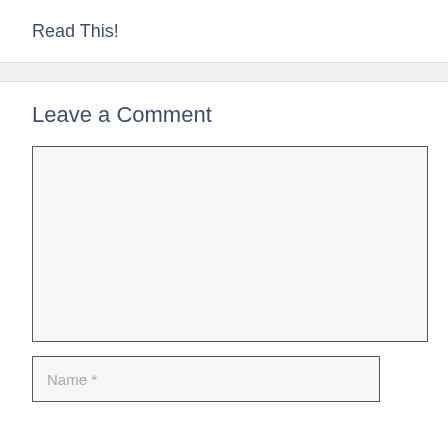Read This!
Leave a Comment
[Figure (other): Empty comment textarea input field with light gray background and dark border]
[Figure (other): Name input field with placeholder text 'Name *']